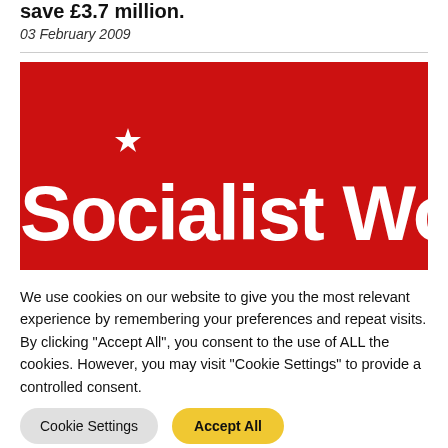save £3.7 million.
03 February 2009
[Figure (logo): Socialist Worker magazine logo — white bold text 'Socialist Worker' with a star above the 'i' in 'Socialist', on a red background.]
We use cookies on our website to give you the most relevant experience by remembering your preferences and repeat visits. By clicking "Accept All", you consent to the use of ALL the cookies. However, you may visit "Cookie Settings" to provide a controlled consent.
Cookie Settings    Accept All